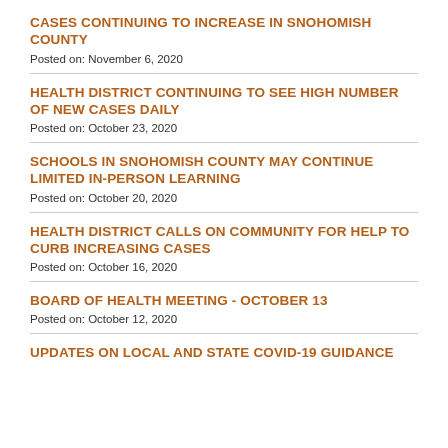CASES CONTINUING TO INCREASE IN SNOHOMISH COUNTY
Posted on: November 6, 2020
HEALTH DISTRICT CONTINUING TO SEE HIGH NUMBER OF NEW CASES DAILY
Posted on: October 23, 2020
SCHOOLS IN SNOHOMISH COUNTY MAY CONTINUE LIMITED IN-PERSON LEARNING
Posted on: October 20, 2020
HEALTH DISTRICT CALLS ON COMMUNITY FOR HELP TO CURB INCREASING CASES
Posted on: October 16, 2020
BOARD OF HEALTH MEETING - OCTOBER 13
Posted on: October 12, 2020
UPDATES ON LOCAL AND STATE COVID-19 GUIDANCE